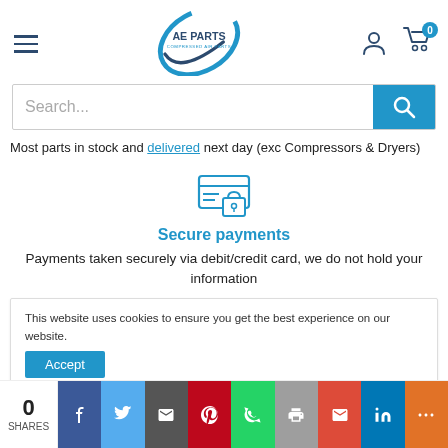[Figure (logo): AE Parts - Compressed Air Parts logo with blue circular design]
[Figure (screenshot): Search bar with placeholder text Search... and blue search button]
Most parts in stock and delivered next day (exc Compressors & Dryers)
[Figure (illustration): Secure payments icon - credit card with padlock in blue outline style]
Secure payments
Payments taken securely via debit/credit card, we do not hold your information
This website uses cookies to ensure you get the best experience on our website.
[Figure (screenshot): Social share bar with 0 shares, Facebook, Twitter, Email, Pinterest, WhatsApp, Print, Gmail, LinkedIn, More buttons]